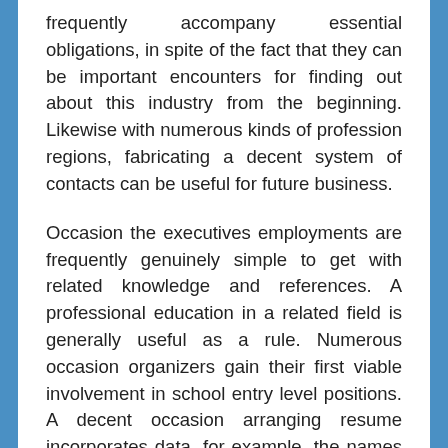frequently accompany essential obligations, in spite of the fact that they can be important encounters for finding out about this industry from the beginning. Likewise with numerous kinds of profession regions, fabricating a decent system of contacts can be useful for future business.
Occasion the executives employments are frequently genuinely simple to get with related knowledge and references. A professional education in a related field is generally useful as a rule. Numerous occasion organizers gain their first viable involvement in school entry level positions. A decent occasion arranging resume incorporates data, for example, the names of past occasions and information estimating the quantities of participants starting with one year then onto the next. Increments in participation are especially acceptable markers of a prepared proficient and have an insight at to chuc